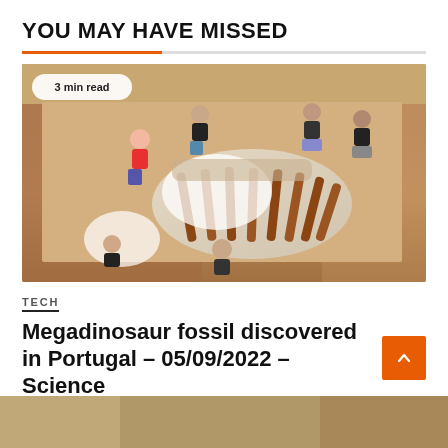YOU MAY HAVE MISSED
[Figure (photo): Aerial/overhead view of paleontologists posing around a large dinosaur fossil excavation site showing ribcage bones embedded in reddish soil. Several researchers are visible sitting and standing around the fossil. Badge reads '3 min read'.]
TECH
Megadinosaur fossil discovered in Portugal – 05/09/2022 – Science
September 5, 2022   Harlan Howard